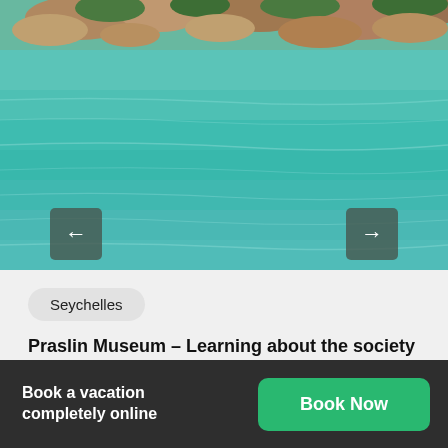[Figure (photo): Tropical beach scene with turquoise/teal ocean water and rocky coastline with green vegetation in the background. Navigation arrows on left and right sides of the image carousel.]
Seychelles
Praslin Museum – Learning about the society and culture of Seychelles
Rahul May 19, 2020
Book a vacation completely online
Book Now